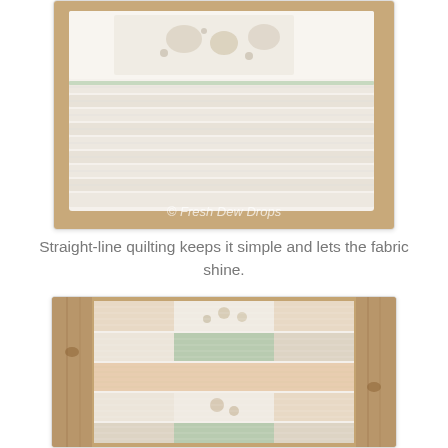[Figure (photo): Close-up photo of a quilted item with straight-line quilting in white, cream, and light green fabric strips with a floral/squirrel panel. Watermark reads '© Fresh Dew Drops'.]
Straight-line quilting keeps it simple and lets the fabric shine.
[Figure (photo): Photo of a patchwork quilt draped over a light wood crib or rail, showing a pattern of cream, peach, sage green, and floral fabric strips with straight-line quilting.]